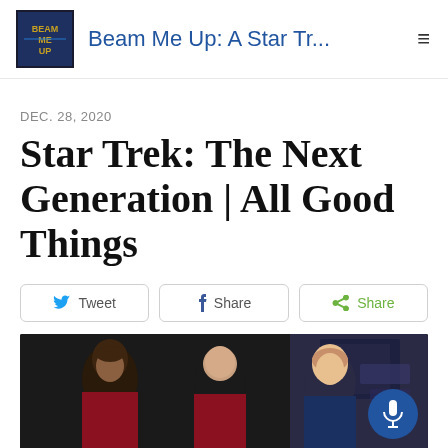Beam Me Up: A Star Tr...
DEC. 28, 2020
Star Trek: The Next Generation | All Good Things
Tweet  Share  Share
[Figure (photo): Three Star Trek TNG cast members standing on the bridge set, in uniform. A blue microphone FAB button overlays the bottom right corner.]